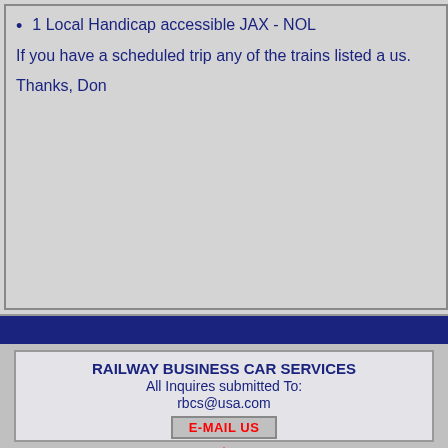1 Local Handicap accessible JAX - NOL
If you have a scheduled trip any of the trains listed a us.
Thanks, Don
RAILWAY BUSINESS CAR SERVICES
All Inquires submitted To:
rbcs@usa.com
E-MAIL US
[Figure (other): UP arrow button with text UP below it]